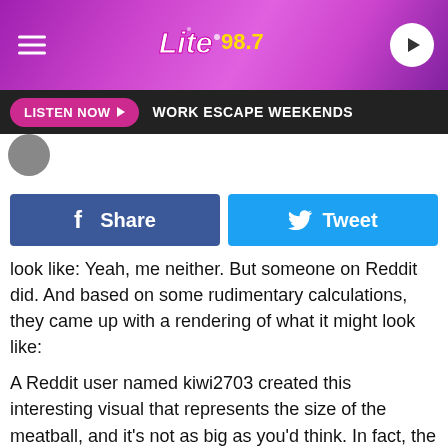[Figure (screenshot): Lite 98.7 radio station header banner with pink/purple gradient background, hamburger menu icon on left, Lite 98.7 logo in center, play button on right]
LISTEN NOW ▶  WORK ESCAPE WEEKENDS
[Figure (screenshot): Dark avatar/profile circle partially visible]
Share  Tweet (social share buttons)
look like: Yeah, me neither. But someone on Reddit did. And based on some rudimentary calculations, they came up with a rendering of what it might look like:
A Reddit user named kiwi2703 created this interesting visual that represents the size of the meatball, and it's not as big as you'd think. In fact, the human meatball would easily fit in New York City's Central Park, with room to spare. How could this possibly be?